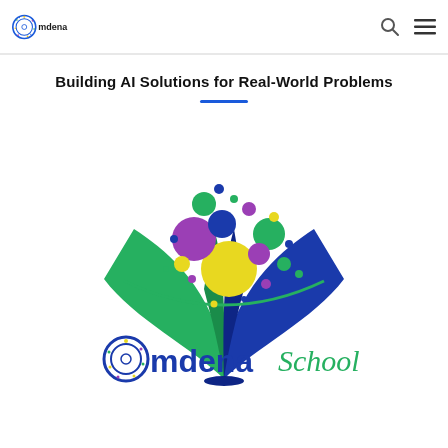Omdena
Building AI Solutions for Real-World Problems
[Figure (logo): Omdena School logo: an open book with colorful bubbles (green, purple, yellow, blue) floating above it, with 'Omdena School' text below where 'School' is in green cursive and 'Omdena' in dark blue with the Omdena circular logo mark]